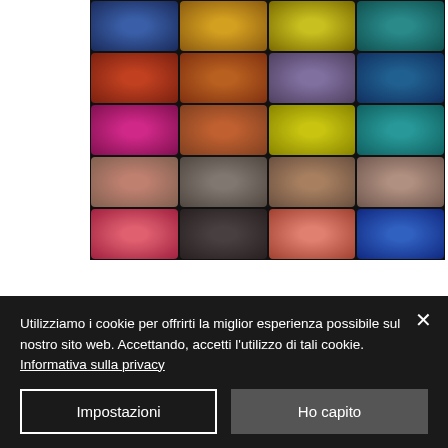[Figure (screenshot): A blurred grid of colorful game thumbnails/icons on a dark background, arranged in 5 rows and 4 columns. Colors include blue, gold, yellow, teal, red, orange, purple, pink, brown, dark tones.]
Utilizziamo i cookie per offrirti la miglior esperienza possibile sul nostro sito web. Accettando, accetti l'utilizzo di tali cookie. Informativa sulla privacy
Impostazioni
Ho capito